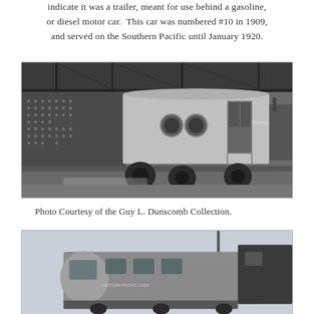indicate it was a trailer, meant for use behind a gasoline, or diesel motor car. This car was numbered #10 in 1909, and served on the Southern Pacific until January 1920.
[Figure (photo): Black and white photograph of a railroad trailer car inside a train shed or depot. The car has two circular porthole windows and is lettered for Southern Pacific Lines. The car sits on rail trucks visible beneath it.]
Photo Courtesy of the Guy L. Dunscomb Collection.
[Figure (photo): Partial black and white photograph showing the front/side of a rail motor car or self-propelled railcar, lettered Western Pacific Lines, taken from a low angle.]